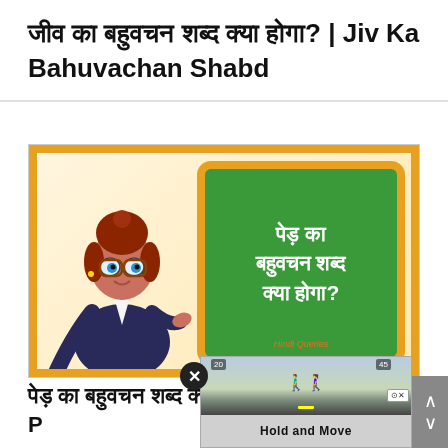जीव का बहुवचन शब्द क्या होगा? | Jiv Ka Bahuvachan Shabd
[Figure (illustration): Educational illustration showing a cartoon female teacher with red hair and glasses, wearing a dark blazer, pointing with a stick toward a green chalkboard with orange border. The chalkboard shows Hindi text 'पेड़ का बहुवचन शब्द क्या होगा?' in white. A watermark reads 'Hindi Queries'.]
पेड़ का बहुवचन शब्द क्या होगा? | P